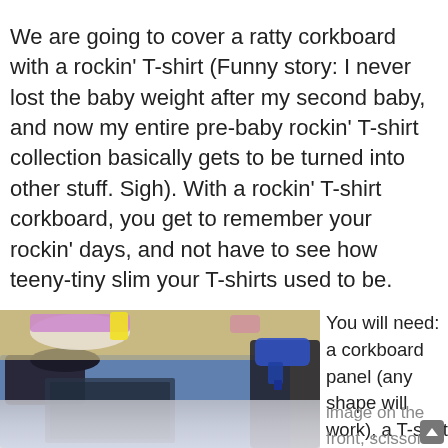Today, however, we're getting our inspiration board on. We are going to cover a ratty corkboard with a rockin' T-shirt (Funny story: I never lost the baby weight after my second baby, and now my entire pre-baby rockin' T-shirt collection basically gets to be turned into other stuff. Sigh). With a rockin' T-shirt corkboard, you get to remember your rockin' days, and not have to see how teeny-tiny slim your T-shirts used to be.
[Figure (photo): A blue baseball-style T-shirt laid flat on a table with crafting supplies including a glue gun, showing a graphic print on the shirt. Black fabric visible in upper right.]
You will need: a corkboard panel (any shape will work), a T-shirt with a great image on the front, scissors